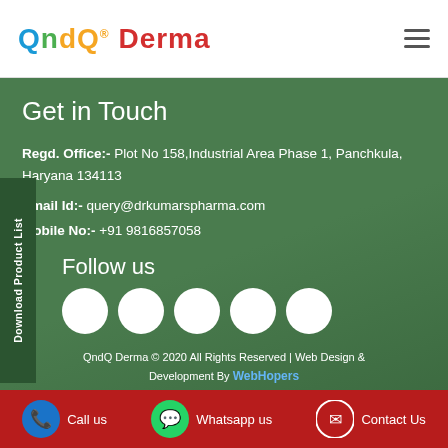QndQ® Derma
Get in Touch
Regd. Office:- Plot No 158,Industrial Area Phase 1, Panchkula, Haryana 134113
Email Id:- query@drkumarspharma.com
Mobile No:- +91 9816857058
Follow us
[Figure (other): Social media icons: four white circles representing social media platforms]
QndQ Derma © 2020 All Rights Reserved | Web Design & Development By WebHopers
Download Product List
Call us | Whatsapp us | Contact Us